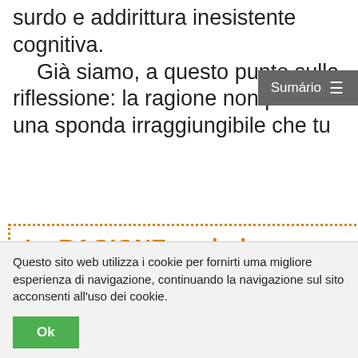surdo e addirittura inesistente cognitiva. Già siamo, a questo punto sulla riflessione: la ragione non può es una sponda irraggiungibile che tu
Sumário ≡
La RAGIONE esclude l'assurdità del MISTERO, poiché l'ostacolo per attin
Questo sito web utilizza i cookie per fornirti uma migliore esperienza di navigazione, continuando la navigazione sul sito acconsenti all'uso dei cookie.
Ok